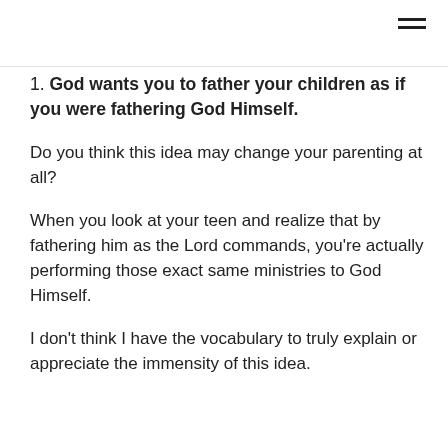≡
1. God wants you to father your children as if you were fathering God Himself.
Do you think this idea may change your parenting at all?
When you look at your teen and realize that by fathering him as the Lord commands, you're actually performing those exact same ministries to God Himself.
I don't think I have the vocabulary to truly explain or appreciate the immensity of this idea.